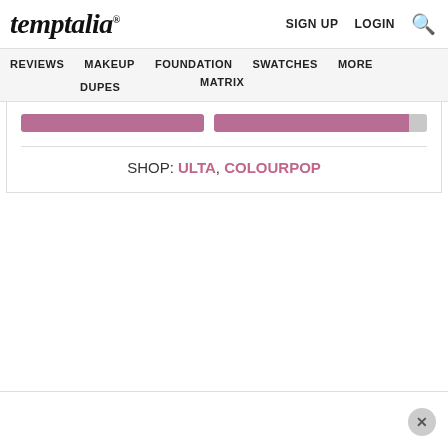temptalia® | SIGN UP | LOGIN
REVIEWS | MAKEUP | FOUNDATION | SWATCHES | MORE | DUPES | MATRIX
[Figure (other): Two horizontal mauve/pink color swatch bars side by side]
SHOP: ULTA, COLOURPOP